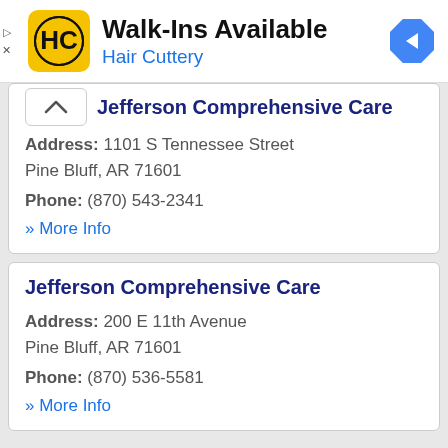[Figure (infographic): Hair Cuttery advertisement banner with logo, Walk-Ins Available headline, and navigation icon]
Jefferson Comprehensive Care
Address: 1101 S Tennessee Street Pine Bluff, AR 71601
Phone: (870) 543-2341
» More Info
Jefferson Comprehensive Care
Address: 200 E 11th Avenue Pine Bluff, AR 71601
Phone: (870) 536-5581
» More Info